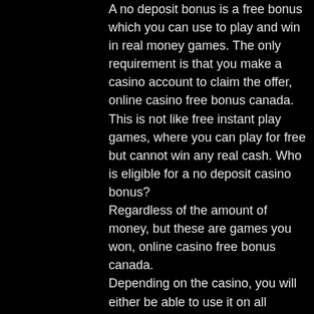A no deposit bonus is a free bonus which you can use to play and win in real money games. The only requirement is that you make a casino account to claim the offer, online casino free bonus canada. This is not like free instant play games, where you can play for free but cannot win any real cash. Who is eligible for a no deposit casino bonus? Regardless of the amount of money, but these are games you won, online casino free bonus canada. Depending on the casino, you will either be able to use it on all games, or just selected games. Sometimes you might also need no deposit casino bonus codes to redeem them, online casino free bonus canada. For each no deposit casino bonus we include step by step tutorial how to claim the no deposit bonus.
Jennings indian head for